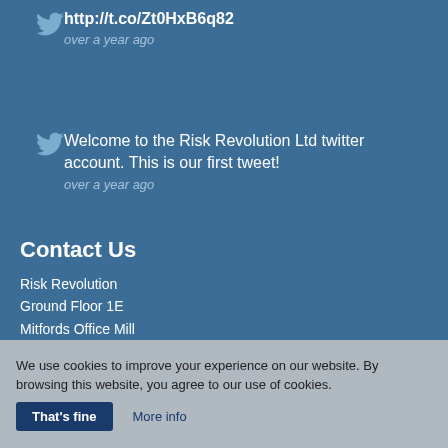http://t.co/Zt0HxB6q82
over a year ago
Welcome to the Risk Revolution Ltd twitter account. This is our first tweet!
over a year ago
Contact Us
Risk Revolution
Ground Floor 1E
Mitfords Office Mill
We use cookies to improve your experience on our website. By browsing this website, you agree to our use of cookies.
That's fine
More info